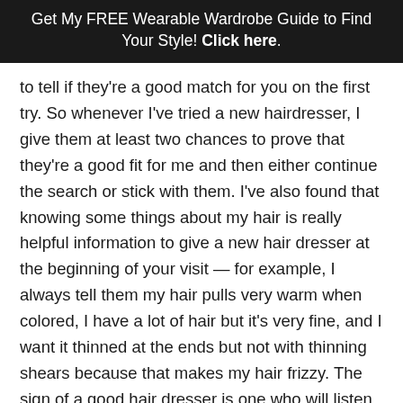Get My FREE Wearable Wardrobe Guide to Find Your Style! Click here.
to tell if they're a good match for you on the first try. So whenever I've tried a new hairdresser, I give them at least two chances to prove that they're a good fit for me and then either continue the search or stick with them. I've also found that knowing some things about my hair is really helpful information to give a new hair dresser at the beginning of your visit — for example, I always tell them my hair pulls very warm when colored, I have a lot of hair but it's very fine, and I want it thinned at the ends but not with thinning shears because that makes my hair frizzy. The sign of a good hair dresser is one who will listen to those things and also offer advice. My current hairdresser is always taking classes to learn new skills and stay up on